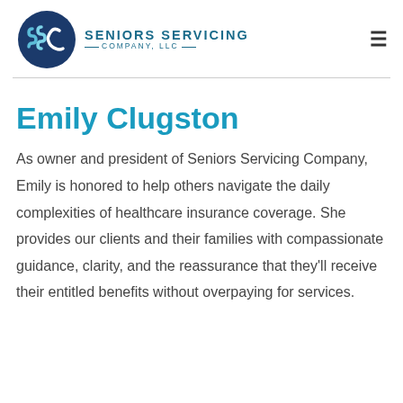[Figure (logo): Seniors Servicing Company LLC logo with SSC circular emblem in navy and teal, and company name text]
Emily Clugston
As owner and president of Seniors Servicing Company, Emily is honored to help others navigate the daily complexities of healthcare insurance coverage. She provides our clients and their families with compassionate guidance, clarity, and the reassurance that they'll receive their entitled benefits without overpaying for services.